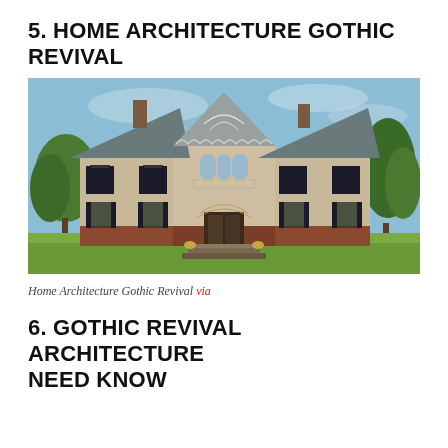5. HOME ARCHITECTURE GOTHIC REVIVAL
[Figure (photo): A two-story Gothic Revival home with stucco exterior, pointed gable with decorative tracery, arched entry, black shutters on windows, brick foundation, front steps, and surrounding trees and lawn.]
Home Architecture Gothic Revival via
6. GOTHIC REVIVAL ARCHITECTURE NEED KNOW